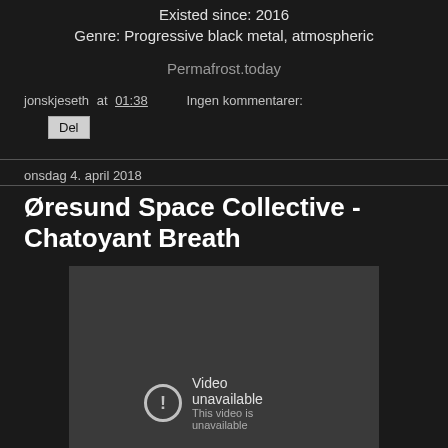Existed since: 2016
Genre: Progressive black metal, atmospheric
Permafrost.today
jonskjeseth at 01:38    Ingen kommentarer:
Del
onsdag 4. april 2018
Øresund Space Collective - Chatoyant Breath
[Figure (screenshot): Embedded video player showing 'Video unavailable' message with a circle exclamation icon]